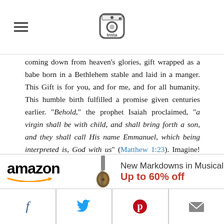Instagram/Insta logo header with hamburger menu
coming down from heaven's glories, gift wrapped as a babe born in a Bethlehem stable and laid in a manger. This Gift is for you, and for me, and for all humanity. This humble birth fulfilled a promise given centuries earlier. "Behold," the prophet Isaiah proclaimed, "a virgin shall be with child, and shall bring forth a son, and they shall call His name Emmanuel, which being interpreted is, God with us" (Matthew 1:23). Imagine! Jesus Christ, God with us, born as a babe in Bethlehem, sharing our joys and sufferings, knowing what it is to be fully human, wanting to have a relationship with us.
[Figure (screenshot): Amazon advertisement banner: amazon logo with arrow, guitar image, text 'New Markdowns in Musical Instru' and 'Up to 60% off']
Social sharing buttons: Facebook, Twitter, Pinterest, Email